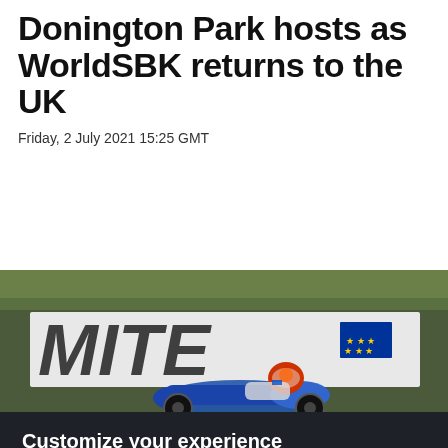Donington Park hosts as WorldSBK returns to the UK
Friday, 2 July 2021 15:25 GMT
[Figure (photo): A motorcycle racer leaning into a corner on a racing bike at Donington Park, with a white banner/signage in the background and green trees visible above.]
Customize your experience
Dorna and its suppliers use cookies and similar technologies to measure your interactions with our websites, products and services, and to show you personalized advertising based on a profile made from your browsing habits (for example, pages viewed by you). By clicking "Enable all", you agree to the storing of our cookies on your device for those purposes. By clicking "Customize" you can choose which categories of cookies you prefer to enable or refuse, and you can also choose to refuse them all. You can always check our Cookies